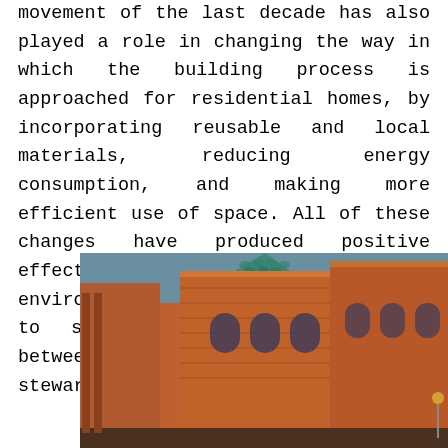movement of the last decade has also played a role in changing the way in which the building process is approached for residential homes, by incorporating reusable and local materials, reducing energy consumption, and making more efficient use of space. All of these changes have produced positive effects on the surrounding environment and allowed home builders to strike an important balance between the need for housing and stewardship of nature.
[Figure (photo): Photograph of ornate red brick Victorian-style buildings with a distinctive green copper-tiled conical turret roof in the foreground, architectural details visible including arched windows and decorative stonework.]